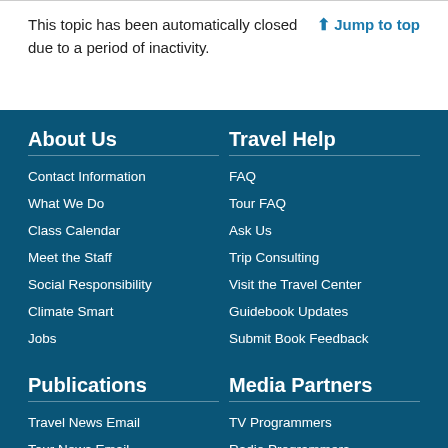This topic has been automatically closed due to a period of inactivity.
↑ Jump to top
About Us
Contact Information
What We Do
Class Calendar
Meet the Staff
Social Responsibility
Climate Smart
Jobs
Travel Help
FAQ
Tour FAQ
Ask Us
Trip Consulting
Visit the Travel Center
Guidebook Updates
Submit Book Feedback
Publications
Travel News Email
Tour News Email
Tour Catalog
Media Partners
TV Programmers
Radio Programmers
Syndicated Content